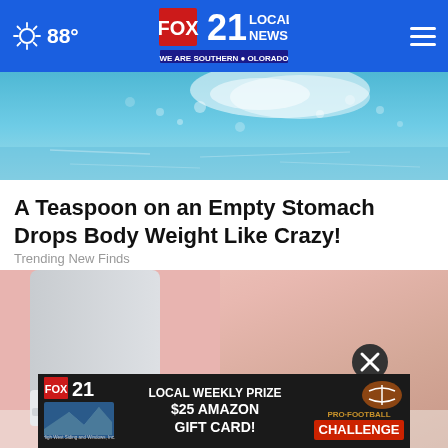FOX 21 LOCAL NEWS — WE ARE SOUTHERN COLORADO | 88°
[Figure (photo): Close-up of fizzing water or salt dissolving in turquoise/teal water with white bubble splashes]
A Teaspoon on an Empty Stomach Drops Body Weight Like Crazy!
Trending New Finds
[Figure (photo): Person wearing white pants and white perforated sneakers with gold/brown accents, standing on light surface against pink background]
[Figure (infographic): FOX 21 advertisement banner: LOCAL WEEKLY PRIZE $25 AMAZON GIFT CARD! with PRO FOOTBALL CHALLENGE branding and High West Siding and Windows sponsor logo]